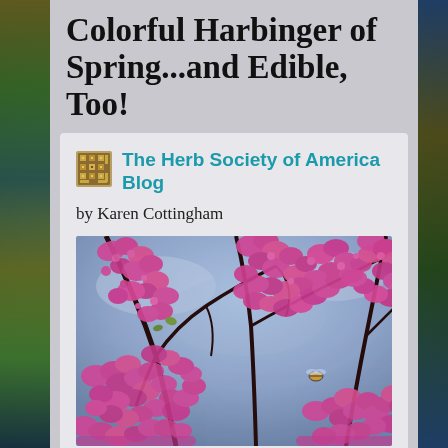Colorful Harbinger of Spring...and Edible, Too!
The Herb Society of America Blog
by Karen Cottingham
[Figure (photo): Close-up photograph of pink redbud tree blossoms on branches with a bee visible, against a blue sky background]